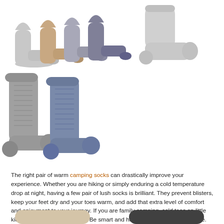[Figure (photo): Top row of product images: left side shows multiple pairs of wool camping socks in grey, brown, and blue stacked together; right side shows a single grey wool sock side profile]
[Figure (photo): Middle large product image: two tall crew socks, one grey and one blue/slate, standing upright side by side]
The right pair of warm camping socks can drastically improve your experience. Whether you are hiking or simply enduring a cold temperature drop at night, having a few pair of lush socks is brilliant. They prevent blisters, keep your feet dry and your toes warm, and add that extra level of comfort and enjoyment to your journey. If you are family camping, cold toes on little kids can rapidly ruin your trip. Be smart and have good socks for everyone.
[Figure (photo): Bottom row: left image shows a light tan/beige wool sock folded flat; right image shows a dark charcoal/black sock folded flat]